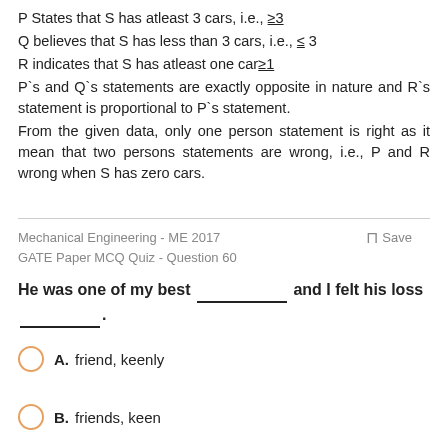P States that S has atleast 3 cars, i.e., ≥3
Q believes that S has less than 3 cars, i.e., ≤ 3
R indicates that S has atleast one car≥1
P`s and Q`s statements are exactly opposite in nature and R`s statement is proportional to P`s statement.
From the given data, only one person statement is right as it mean that two persons statements are wrong, i.e., P and R wrong when S has zero cars.
Mechanical Engineering - ME 2017
GATE Paper MCQ Quiz - Question 60
He was one of my best ___________ and I felt his loss ___________.
A. friend, keenly
B. friends, keen